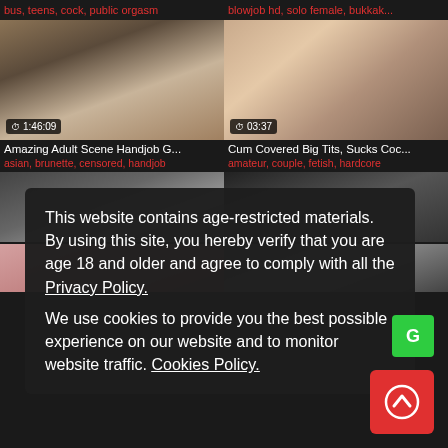bus, teens, cock, public orgasm | blowjob hd, solo female, bukkak...
[Figure (screenshot): Adult video thumbnail left - 1:46:09 duration]
[Figure (screenshot): Adult video thumbnail right - 03:37 duration]
Amazing Adult Scene Handjob G...
asian, brunette, censored, handjob
Cum Covered Big Tits, Sucks Coc...
amateur, couple, fetish, hardcore
[Figure (screenshot): Adult video thumbnail left bottom partial]
[Figure (screenshot): Adult video thumbnail right bottom partial]
This website contains age-restricted materials. By using this site, you hereby verify that you are age 18 and older and agree to comply with all the Privacy Policy. We use cookies to provide you the best possible experience on our website and to monitor website traffic. Cookies Policy.